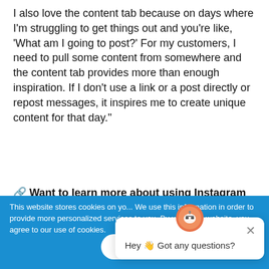I also love the content tab because on days where I'm struggling to get things out and you're like, 'What am I going to post?' For my customers, I need to pull some content from somewhere and the content tab provides more than enough inspiration. If I don't use a link or a post directly or repost messages, it inspires me to create unique content for that day."
🔗 Want to learn more about using Instagram First Comment?
Send a first comment
with every Instagra...
This website stores cookies on your computer. We use this information in order to provide more personalized services to you. By using our website, you agree to our use of cookies.
Ok
Hey 👋 Got any questions?